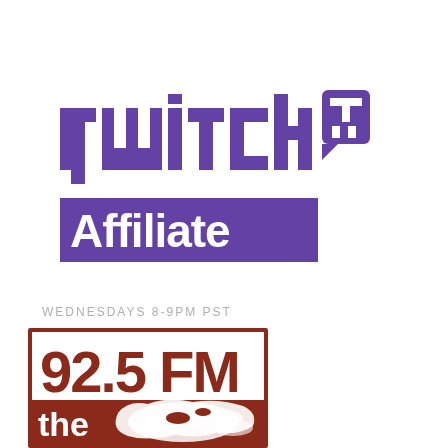[Figure (logo): Twitch Affiliate logo: 'twitch' text in purple with Twitch glitch icon, and a purple rectangle with white bold text 'Affiliate']
WEDNESDAYS 8-9PM PST
[Figure (logo): 92.5 FM radio station logo: dark red/brown bordered box with '92.5 FM' in large bold dark red text, 'the' in white on dark red background, with a map graphic of a region in white silhouette on dark red]